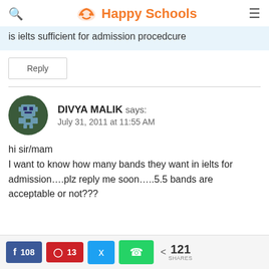Happy Schools
is ielts sufficient for admission procedcure
Reply
DIVYA MALIK says:
July 31, 2011 at 11:55 AM
hi sir/mam
I want to know how many bands they want in ielts for admission….plz reply me soon…..5.5 bands are acceptable or not???
f 108   13   < 121 SHARES